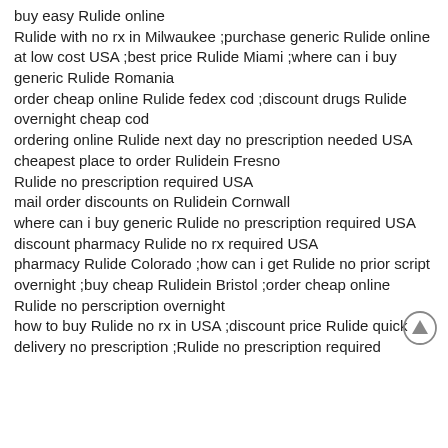buy easy Rulide online
Rulide with no rx in Milwaukee ;purchase generic Rulide online at low cost USA ;best price Rulide Miami ;where can i buy generic Rulide Romania
order cheap online Rulide fedex cod ;discount drugs Rulide overnight cheap cod
ordering online Rulide next day no prescription needed USA
cheapest place to order Rulidein Fresno
Rulide no prescription required USA
mail order discounts on Rulidein Cornwall
where can i buy generic Rulide no prescription required USA
discount pharmacy Rulide no rx required USA
pharmacy Rulide Colorado ;how can i get Rulide no prior script overnight ;buy cheap Rulidein Bristol ;order cheap online Rulide no perscription overnight
how to buy Rulide no rx in USA ;discount price Rulide quick delivery no prescription ;Rulide no prescription required